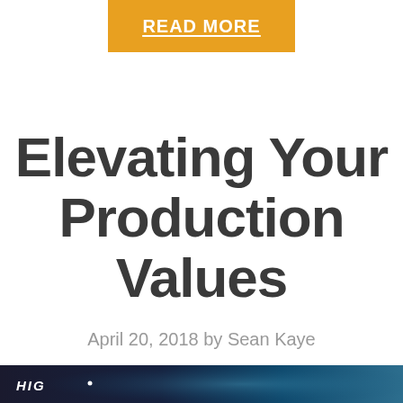READ MORE
Elevating Your Production Values
April 20, 2018 by Sean Kaye
[Figure (photo): Partial view of a dark blue image with white text beginning 'HIG' and a small white dot, appearing to be a book or article cover image]